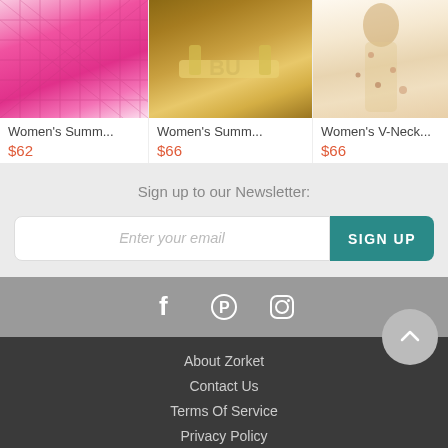[Figure (photo): Pink quilted slide sandals on grey surface]
Women's Summ...
$62
[Figure (photo): Yellow strappy heeled sandals on brown surface with 'BU' text visible]
Women's Summ...
$66
[Figure (photo): Floral long dress on woman with red hair, partially visible]
Women's V-Neck...
$66
Sign up to our Newsletter:
Enter your email
SIGN UP
[Figure (infographic): Social media icons: Facebook, Pinterest, Instagram]
About Zorket
Contact Us
Terms Of Service
Privacy Policy